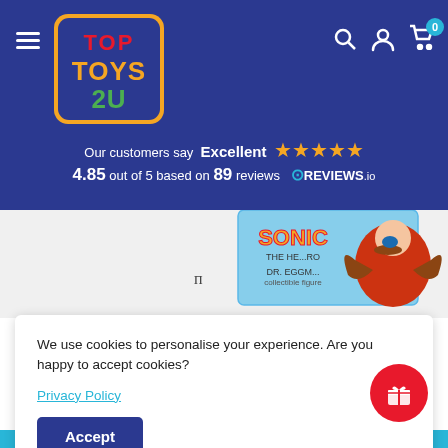Top Toys 2U - website header with logo, hamburger menu, search, account, cart icons
Our customers say Excellent ★★★★★ 4.85 out of 5 based on 89 reviews ⊙REVIEWS.io
[Figure (photo): Sonic the Hedgehog Dr. Eggman collectible figure product and box]
We use cookies to personalise your experience. Are you happy to accept cookies?
Privacy Policy
Accept